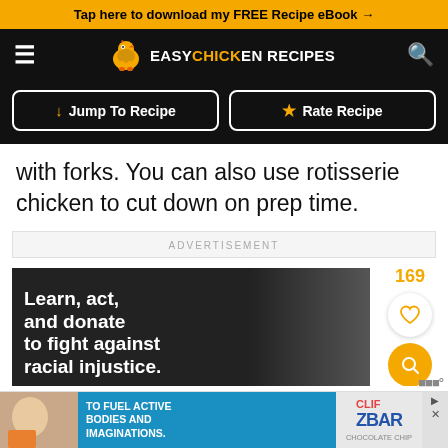Tap here to download my FREE Recipe eBook →
[Figure (logo): Easy Chicken Recipes logo with chicken icon, navigation hamburger menu and search icon on black background]
Jump To Recipe | Rate Recipe (buttons)
with forks. You can also use rotisserie chicken to cut down on prep time.
ADVERTISEMENT
[Figure (photo): Dark background image with white bold text reading: Learn, act, and donate to fight against racial injustice.]
[Figure (infographic): Bottom advertisement banner: blue background with text TO FUEL ACTIVE BODIES AND IMAGINATIONS. Z BAR Clif Kid branding on right side.]